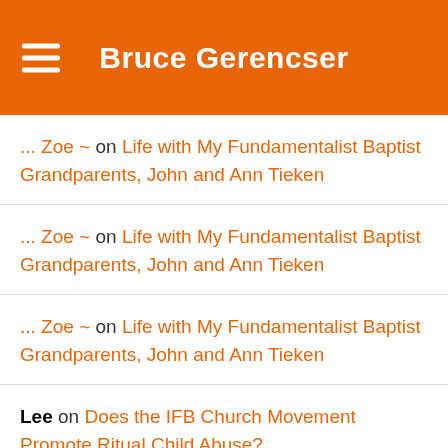Bruce Gerencser
... Zoe ~ on Life with My Fundamentalist Baptist Grandparents, John and Ann Tieken
... Zoe ~ on Life with My Fundamentalist Baptist Grandparents, John and Ann Tieken
... Zoe ~ on Life with My Fundamentalist Baptist Grandparents, John and Ann Tieken
Lee on Does the IFB Church Movement Promote Ritual Child Abuse?
Ben Berwick on Life with My Fundamentalist